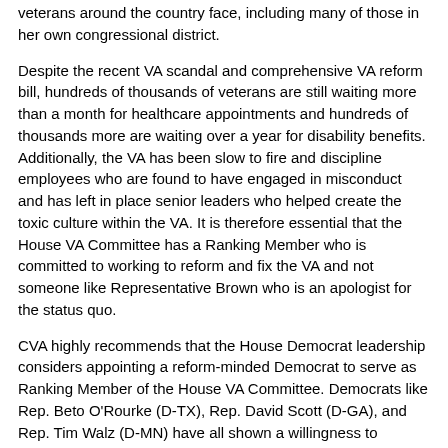veterans around the country face, including many of those in her own congressional district.
Despite the recent VA scandal and comprehensive VA reform bill, hundreds of thousands of veterans are still waiting more than a month for healthcare appointments and hundreds of thousands more are waiting over a year for disability benefits. Additionally, the VA has been slow to fire and discipline employees who are found to have engaged in misconduct and has left in place senior leaders who helped create the toxic culture within the VA. It is therefore essential that the House VA Committee has a Ranking Member who is committed to working to reform and fix the VA and not someone like Representative Brown who is an apologist for the status quo.
CVA highly recommends that the House Democrat leadership considers appointing a reform-minded Democrat to serve as Ranking Member of the House VA Committee. Democrats like Rep. Beto O'Rourke (D-TX), Rep. David Scott (D-GA), and Rep. Tim Walz (D-MN) have all shown a willingness to question the status quo at the VA and support reforms that begin to address the structural and cultural issues within the VA. While CVA does not agree with them on everything, we consider these individuals far better candidates for the position of Ranking Member than Representative Brown and they should be taken into consideration when determining who will serve in leadership positions for the minority on the House VA committee.